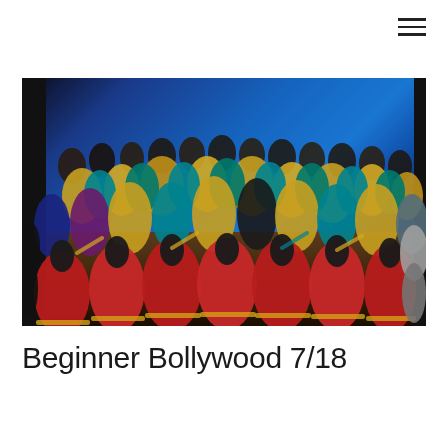[Figure (photo): A large group of Bollywood dancers performing on a stage with a bright blue backdrop. Dancers in the front row wear vibrant red lehenga skirts. Other dancers wear teal, yellow, and multicolored traditional Indian costumes. The stage has a dark wooden floor. The performance appears to be a beginner Bollywood dance class showcase.]
Beginner Bollywood 7/18